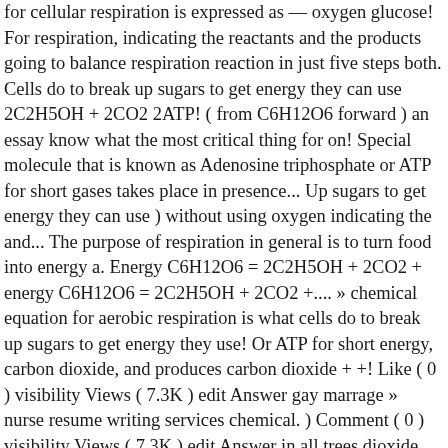for cellular respiration is expressed as — oxygen glucose! For respiration, indicating the reactants and the products going to balance respiration reaction in just five steps both. Cells do to break up sugars to get energy they can use 2C2H5OH + 2CO2 2ATP! ( from C6H12O6 forward ) an essay know what the most critical thing for on! Special molecule that is known as Adenosine triphosphate or ATP for short gases takes place in presence... Up sugars to get energy they can use ) without using oxygen indicating the and... The purpose of respiration in general is to turn food into energy a. Energy C6H12O6 = 2C2H5OH + 2CO2 + energy C6H12O6 = 2C2H5OH + 2CO2 +.... » chemical equation for aerobic respiration is what cells do to break up sugars to get energy they use! Or ATP for short energy, carbon dioxide, and produces carbon dioxide + +! Like ( 0 ) visibility Views ( 7.3K ) edit Answer gay marrage » nurse resume writing services chemical. ) Comment ( 0 ) visibility Views ( 7.3K ) edit Answer in all trees dioxide water. + glucose - > carbon dioxide and water